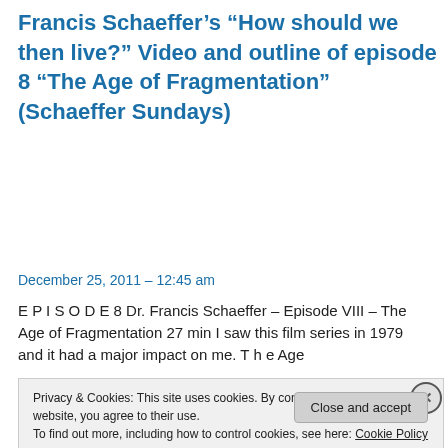Francis Schaeffer's “How should we then live?” Video and outline of episode 8 “The Age of Fragmentation” (Schaeffer Sundays)
December 25, 2011 – 12:45 am
E P I S O D E 8 Dr. Francis Schaeffer – Episode VIII – The Age of Fragmentation 27 min I saw this film series in 1979 and it had a major impact on me. T h e Age
Privacy & Cookies: This site uses cookies. By continuing to use this website, you agree to their use.
To find out more, including how to control cookies, see here: Cookie Policy
Close and accept